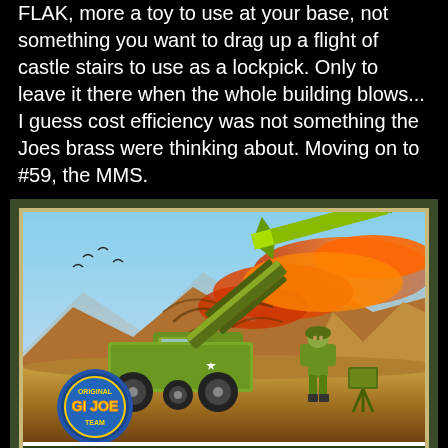FLAK, more a toy to use at your base, not something you want to drag up a flight of castle stairs to use as a lockpick. Only to leave it there when the whole building blows... I guess cost efficiency was not something the Joes brass were thinking about. Moving on to #59, the MMS.
[Figure (illustration): G.I. Joe trading card showing the Mobile Missile System (MMS) — a green military vehicle with a large missile launcher firing a rocket with flames, a soldier standing beside it in a desert landscape. The card has a dark olive border, a golden/tan inner border, and at the bottom reads 'MOBILE MISSILE SYSTEM, MMS' in yellow text on dark green. The Original G.I. Joe Team logo badge appears in the lower left corner. A decorative Greek-key pattern strip runs along the very bottom.]